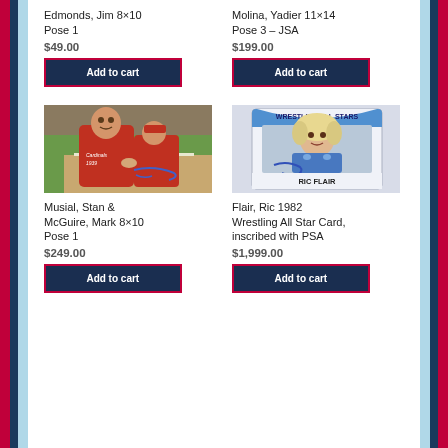Edmonds, Jim 8×10 Pose 1
$49.00
Add to cart
Molina, Yadier 11×14 Pose 3 – JSA
$199.00
Add to cart
[Figure (photo): Signed 8x10 photo of Stan Musial and Mark McGuire]
[Figure (photo): 1982 Wrestling All Stars card of Ric Flair with autograph and PSA grading]
Musial, Stan & McGuire, Mark 8×10 Pose 1
$249.00
Add to cart
Flair, Ric 1982 Wrestling All Star Card, inscribed with PSA
$1,999.00
Add to cart